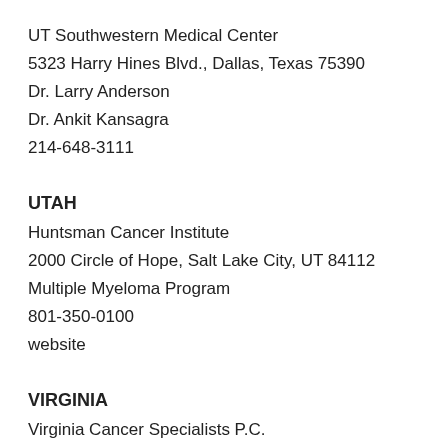UT Southwestern Medical Center
5323 Harry Hines Blvd., Dallas, Texas 75390
Dr. Larry Anderson
Dr. Ankit Kansagra
214-648-3111
UTAH
Huntsman Cancer Institute
2000 Circle of Hope, Salt Lake City, UT 84112
Multiple Myeloma Program
801-350-0100
website
VIRGINIA
Virginia Cancer Specialists P.C.
8700 Arlington Blvd., Suite 300, Fairfax, VA 22031